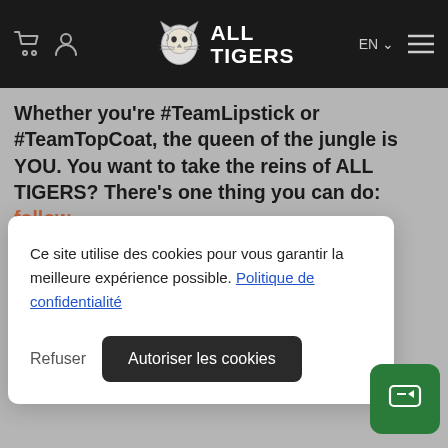[Figure (logo): ALL TIGERS brand logo with tiger face illustration and text ALL TIGERS in white on dark header]
Whether you're #TeamLipstick or #TeamTopCoat, the queen of the jungle is YOU. You want to take the reins of ALL TIGERS? There's one thing you can do: follow
Ce site utilise des cookies pour vous garantir la meilleure expérience possible. Politique de confidentialité
Refuser
Autoriser les cookies